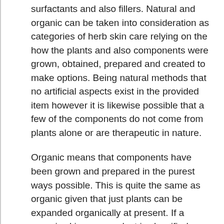surfactants and also fillers. Natural and organic can be taken into consideration as categories of herb skin care relying on the how the plants and also components were grown, obtained, prepared and created to make options. Being natural methods that no artificial aspects exist in the provided item however it is likewise possible that a few of the components do not come from plants alone or are therapeutic in nature.
Organic means that components have been grown and prepared in the purest ways possible. This is quite the same as organic given that just plants can be expanded organically at present. If a organic skin care product is classified because of this just like natural, natural or all-natural things, it does not instantly suggest that all active ingredients originate from a solitary origin. There could be several components that are taken into consideration all-natural, natural, herbal or botanical so check and also review the tag carefully for various other additives. Man-made and artificial ingredients can be included as fillers to supposed herb skin treatment products.